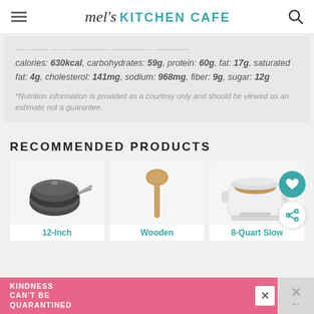mel's KITCHEN CAFE
calories: 630kcal, carbohydrates: 59g, protein: 60g, fat: 17g, saturated fat: 4g, cholesterol: 141mg, sodium: 968mg, fiber: 9g, sugar: 12g
*Nutrition information is provided as a courtesy only and should be viewed as an estimate not a guarantee.
RECOMMENDED PRODUCTS
[Figure (photo): 12-Inch frying pan with lid]
12-Inch
[Figure (photo): Wooden cooking spoon]
Wooden
[Figure (photo): 8-Quart Slow cooker, white, with food inside]
8-Quart Slow
[Figure (infographic): Advertisement banner: KINDNESS CAN'T BE QUARANTINED in white text on pink background]